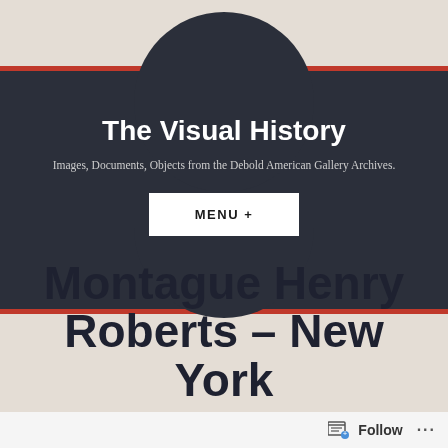The Visual History
Images, Documents, Objects from the Debold American Gallery Archives.
MENU +
Montague Henry Roberts – New York
Follow ...